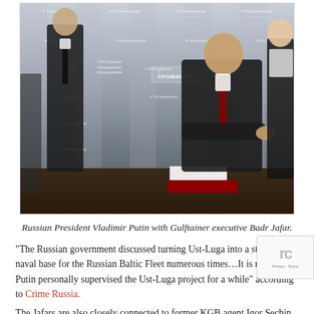[Figure (photo): Russian President Vladimir Putin standing in a dark suit with a black tie in front of Rostechnology (Ростехнологии) branded backdrop, while a man in a dark suit with a red tie (Gulftainer executive Badr Jafar) is seated at a dark table signing documents in a red folder. A woman in a white blouse stands at the right. The background features multiple Ростехнологии logos, an ОАО Концерн Авиационное оборудование sign, and a ПРОМИНВЕСТ logo.]
Russian President Vladimir Putin with Gulftainer executive Badr Jafar.
“The Russian government discussed turning Ust-Luga into a strategic naval base for the Russian Baltic Fleet numerous times…It is no secret Putin personally supervised the Ust-Luga project for a while” according to Crime Russia.
The Jafars are also closely connected to former KGB agent Igor Sechin, the